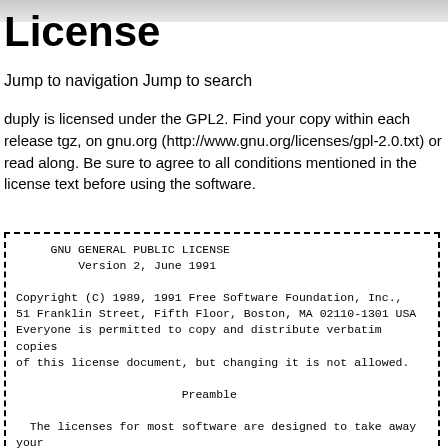License
Jump to navigation Jump to search
duply is licensed under the GPL2. Find your copy within each release tgz, on gnu.org (http://www.gnu.org/licenses/gpl-2.0.txt) or read along. Be sure to agree to all conditions mentioned in the license text before using the software.
GNU GENERAL PUBLIC LICENSE
Version 2, June 1991

Copyright (C) 1989, 1991 Free Software Foundation, Inc.,
51 Franklin Street, Fifth Floor, Boston, MA 02110-1301 USA
Everyone is permitted to copy and distribute verbatim copies
of this license document, but changing it is not allowed.

                            Preamble

  The licenses for most software are designed to take away your
freedom to share and change it.  By contrast, the GNU General Public
License is intended to guarantee your freedom to share and change free
software--to make sure the software is free for all its users. This
General Public License applies to most of the Free Software
Foundation's software and to any other program whose authors